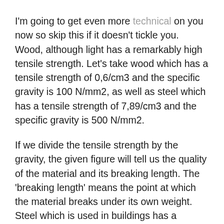I'm going to get even more technical on you now so skip this if it doesn't tickle you. Wood, although light has a remarkably high tensile strength. Let's take wood which has a tensile strength of 0,6/cm3 and the specific gravity is 100 N/mm2, as well as steel which has a tensile strength of 7,89/cm3 and the specific gravity is 500 N/mm2.
If we divide the tensile strength by the gravity, the given figure will tell us the quality of the material and its breaking length. The 'breaking length' means the point at which the material breaks under its own weight. Steel which is used in buildings has a breaking point of 5.4km and hardened bow steel 17.5km.
When we compare the tensile strength of steel to two varieties of wood, spruce and laminated beech